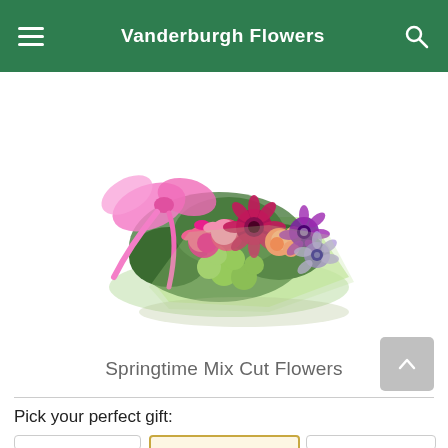Vanderburgh Flowers
[Figure (photo): A colorful springtime flower bouquet wrapped in green netting and tied with a pink ribbon bow. The arrangement includes pink carnations, purple gerbera daisies, light orange roses, green button flowers, purple anemones, and various greenery.]
Springtime Mix Cut Flowers
Pick your perfect gift: